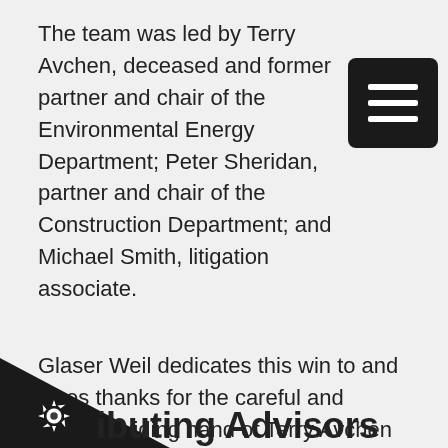[Figure (other): Hamburger menu icon — black rounded rectangle with three white horizontal bars]
The team was led by Terry Avchen, deceased and former partner and chair of the Environmental Energy Department; Peter Sheridan, partner and chair of the Construction Department; and Michael Smith, litigation associate.
Glaser Weil dedicates this win to and gives thanks for the careful and steady guiding hand of Terry Avchen who was a founding partner of Glaser Weil and who had recently passed.
“Our only wish is that he could be here to savor this long-fought-for victory,” said Peter Sheridan.
[Figure (other): Dark triangle/chevron shape in bottom-left corner with a gear/cog icon and partial text 'ibuting Advisors']